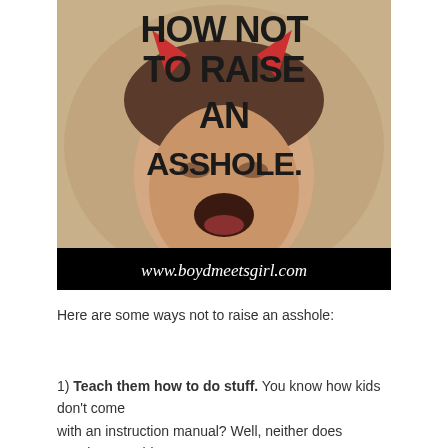[Figure (illustration): A child crying or grimacing with red devil horns, used as book cover image, with title text overlaid reading 'HOW NOT TO RAISE AN ASSHOLE.' and a black banner at bottom reading 'www.boydmeetsgirl.com']
Here are some ways not to raise an asshole:
1) Teach them how to do stuff. You know how kids don't come with an instruction manual? Well, neither does growing up. Kids